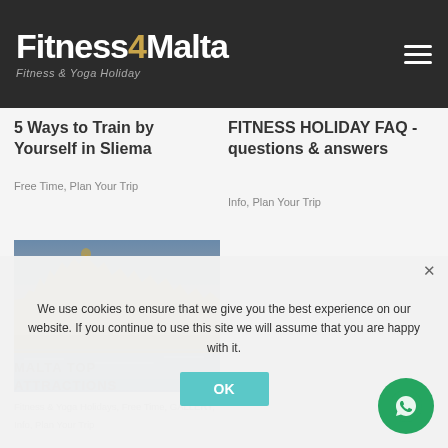Fitness4Malta – Fitness & Yoga Holiday
5 Ways to Train by Yourself in Sliema
Free Time, Plan Your Trip
FITNESS HOLIDAY FAQ - questions & answers
Info, Plan Your Trip
[Figure (photo): Aerial/waterfront view of Malta city (Valletta or Three Cities) at dusk, stone buildings and fortifications with water in foreground]
MALTA TOP ATTRACTIONS
Fitness & Yoga Holidays, Free Time, GALLERY, Info, Plan Your Trip
We use cookies to ensure that we give you the best experience on our website. If you continue to use this site we will assume that you are happy with it.